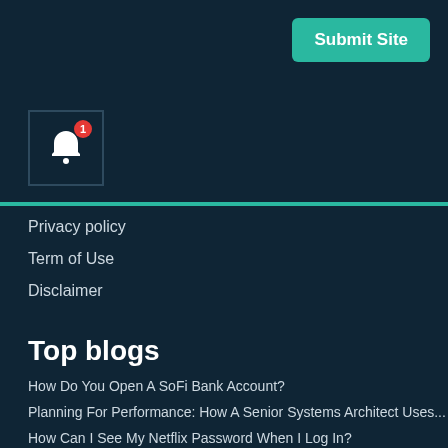Submit Site
[Figure (illustration): Bell notification icon with red badge showing number 1, inside a dark bordered box]
Privacy policy
Term of Use
Disclaimer
Top blogs
How Do You Open A SoFi Bank Account?
Planning For Performance: How A Senior Systems Architect Uses...
How Can I See My Netflix Password When I Log In?
Cookies And CMP
Get more download news
Follow us